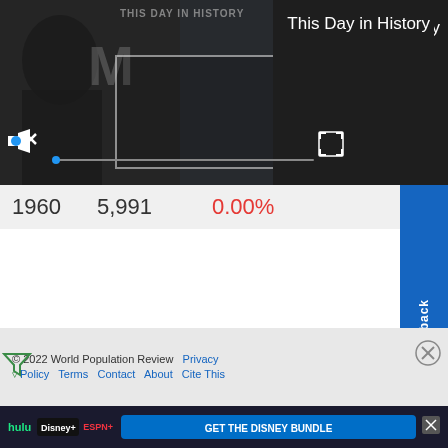[Figure (screenshot): Video player showing 'This Day in History' with date August 7, play button overlay, mute icon, progress bar, and fullscreen icon on dark background]
This Day in History
1960    5,991    0.00%
Feedback
© 2022 World Population Review  Privacy Policy  Terms  Contact  About  Cite This